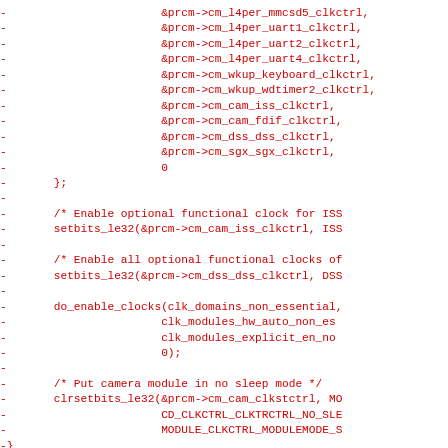Code diff showing removed lines with prcm clock control references and function calls